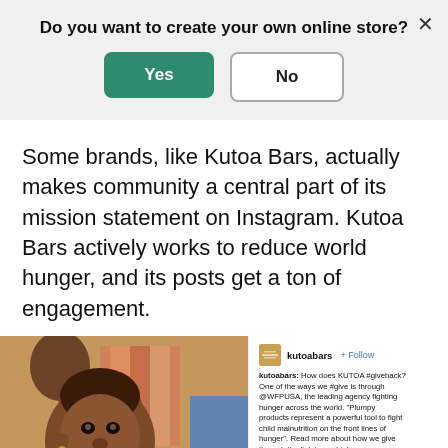Do you want to create your own online store?
Yes | No (buttons)
Some brands, like Kutoa Bars, actually makes community a central part of its mission statement on Instagram. Kutoa Bars actively works to reduce world hunger, and its posts get a ton of engagement.
[Figure (photo): Close-up photo of a young African child with food on their face, with other people in colorful clothing visible in the background]
[Figure (screenshot): Instagram post by @kutoabars with the caption: 'kutoabars: How does KUTOA #giveback? One of the ways we #give is through @WFPUSA, the leading agency fighting hunger across the world. "Plumpy products represent a powerful tool to fight child malnutrition on the front lines of hunger". Read more about how we give through the link in our bio! #limitfood #howigive #endhunger' and a comment: 'rallyflipcop: Awesome #givingback 🙌❤']